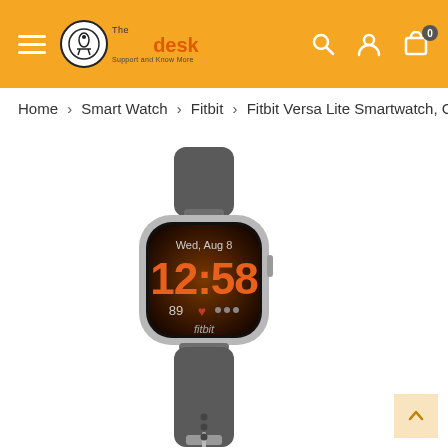The HelpDesk — [hamburger menu] [search] [user] [cart 0]
Home > Smart Watch > Fitbit > Fitbit Versa Lite Smartwatch, Ch
[Figure (photo): Fitbit Versa Lite Smartwatch with dark gray/charcoal silicone band and silver aluminum case. The watch face displays 'Wed, Aug 8' at the top, time '12:58' in large orange digits, '89' heart rate reading with heart icon, and 'fitbit' branding at the bottom.]